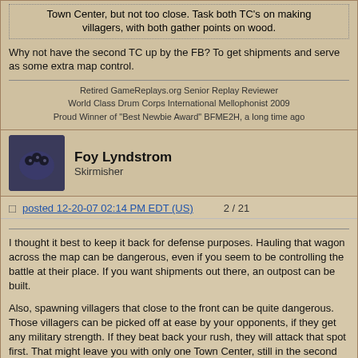Town Center, but not too close. Task both TC's on making villagers, with both gather points on wood.
Why not have the second TC up by the FB? To get shipments and serve as some extra map control.
Retired GameReplays.org Senior Replay Reviewer
World Class Drum Corps International Mellophonist 2009
Proud Winner of "Best Newbie Award" BFME2H, a long time ago
Foy Lyndstrom
Skirmisher
posted 12-20-07 02:14 PM EDT (US)   2 / 21
I thought it best to keep it back for defense purposes. Hauling that wagon across the map can be dangerous, even if you seem to be controlling the battle at their place. If you want shipments out there, an outpost can be built.
Also, spawning villagers that close to the front can be quite dangerous. Those villagers can be picked off at ease by your opponents, if they get any military strength. If they beat back your rush, they will attack that spot first. That might leave you with only one Town Center, still in the second age, and an opponent who is mad as heck, and has momentum.
On the other hand, let's say you keep it back. You have two town centers pumping out villagers, in relative safety. If they decide to counter-attack while you are attacking them, having two TC's at home can be a great resource, allowing all your villagers in the area to